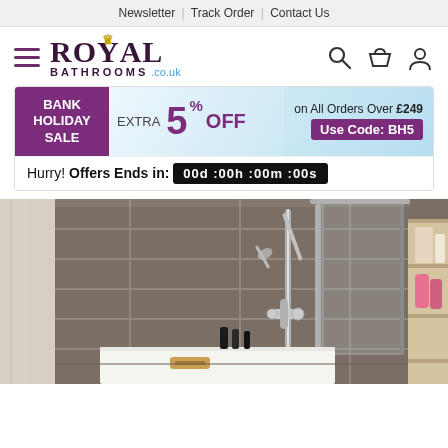Newsletter | Track Order | Contact Us
[Figure (logo): Royal Bathrooms .co.uk logo with crown and duck icon, hamburger menu, search, basket, and account icons]
[Figure (infographic): Bank Holiday Sale banner: EXTRA 5% OFF on All Orders Over £249. Use Code: BH5. Hurry! Offers Ends in: 00d :00h :00m :00s]
[Figure (photo): Bathroom shower area with grey stone-effect tiles, chrome shower screen, shower fixtures with handheld spray, white shower tray with wooden brush, and shelving unit with toiletries on the right]